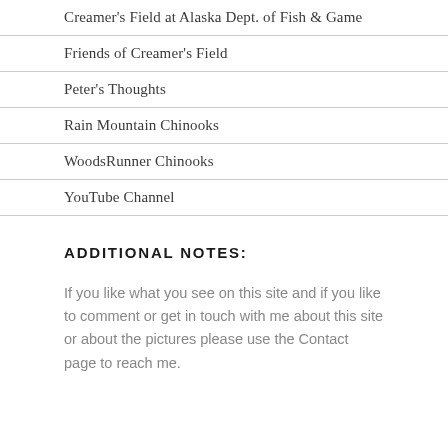Creamer's Field at Alaska Dept. of Fish & Game
Friends of Creamer's Field
Peter's Thoughts
Rain Mountain Chinooks
WoodsRunner Chinooks
YouTube Channel
ADDITIONAL NOTES:
If you like what you see on this site and if you like to comment or get in touch with me about this site or about the pictures please use the Contact page to reach me.